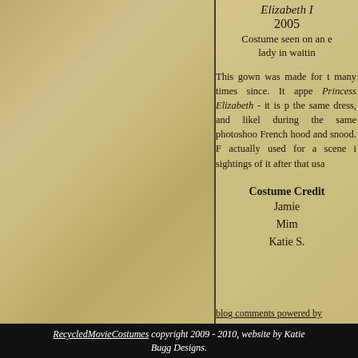[Figure (photo): Left panel showing a parchment/aged texture background, likely a costume photo cropped out of view]
Elizabeth I 2005
Costume seen on an extra lady in waiting
This gown was made for t many times since. It appe Princess Elizabeth - it is p the same dress, and likel during the same photoshoo French hood and snood. F actually used for a scene i sightings of it after that usa
Costume Credits
Jamie
Mim
Katie S.
blog comments powered by
RecycledMovieCostumes copyright 2009 - 2010, website by Katie Bugg Designs.